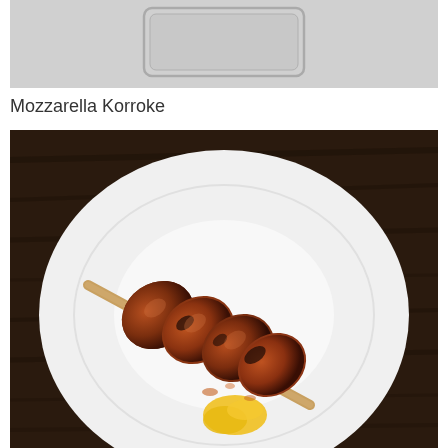[Figure (photo): Top portion of a previous food item photo, partially cropped, showing a light gray/silver container or tray on a light background.]
Mozzarella Korroke
[Figure (photo): A skewered Japanese-style dish (Mozzarella Korroke) on a white round plate. The skewer holds multiple golden-brown glazed pieces of food coated in a dark sauce, with yellow mustard/sauce at the bottom. The plate sits on a dark wooden table background.]